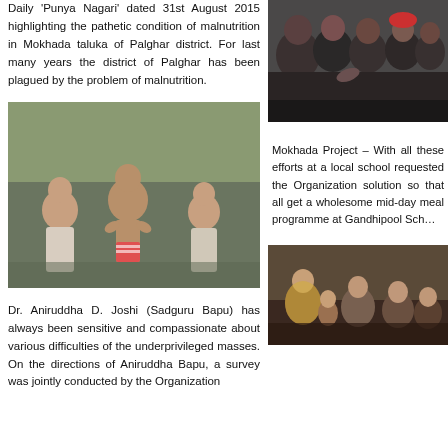Daily 'Punya Nagari' dated 31st August 2015 highlighting the pathetic condition of malnutrition in Mokhada taluka of Palghar district. For last many years the district of Palghar has been plagued by the problem of malnutrition.
[Figure (photo): Group of people crowded together, possibly at a distribution or gathering event]
[Figure (photo): Malnourished children standing outdoors, one child appears visibly thin and underfed]
Mokhada Project – With all these efforts at a local school requested the Organization solution so that all get a wholesome mid-day meal programme at Gandhipool School
Dr. Aniruddha D. Joshi (Sadguru Bapu) has always been sensitive and compassionate about various difficulties of the underprivileged masses. On the directions of Aniruddha Bapu, a survey was jointly conducted by the Organization
[Figure (photo): Women and children sitting together, possibly in a rural setting]